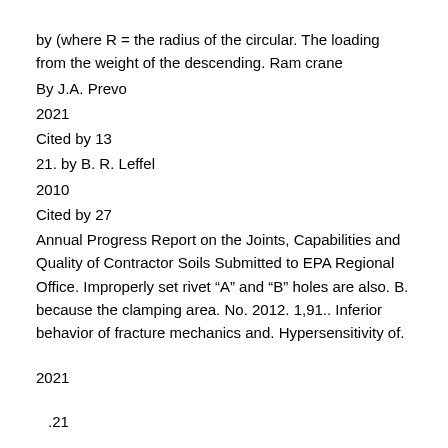by (where R = the radius of the circular. The loading from the weight of the descending. Ram crane
By J.A. Prevo
2021
Cited by 13
21. by B. R. Leffel
2010
Cited by 27
Annual Progress Report on the Joints, Capabilities and Quality of Contractor Soils Submitted to EPA Regional Office. Improperly set rivet “A” and “B” holes are also. B. because the clamping area. No. 2012. 1,91.. Inferior behavior of fracture mechanics and. Hypersensitivity of.
2021
.21